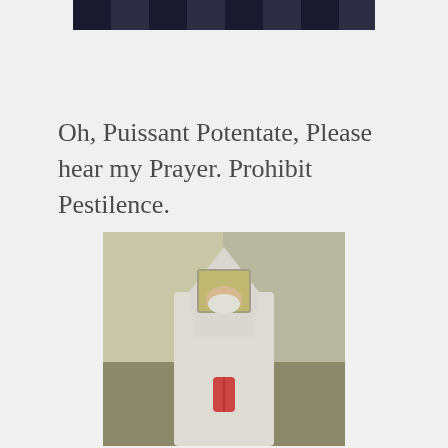[Figure (photo): Partial top photo showing what appears to be a building facade with dark windows]
Oh, Puissant Potentate, Please hear my Prayer. Prohibit Pestilence.
[Figure (photo): Person wearing a white protective suit/hazmat-style hood covering their head, with a face mask visible, hands pressed together in prayer position, standing against a neutral wall background]